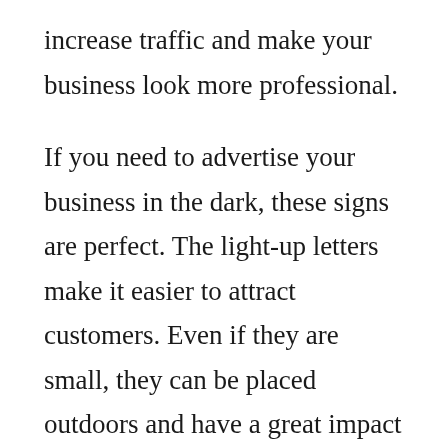increase traffic and make your business look more professional.
If you need to advertise your business in the dark, these signs are perfect. The light-up letters make it easier to attract customers. Even if they are small, they can be placed outdoors and have a great impact on sales. For example, if your business is in a mall, your customers can see it easily. These signs are visible from the street and will be noticed